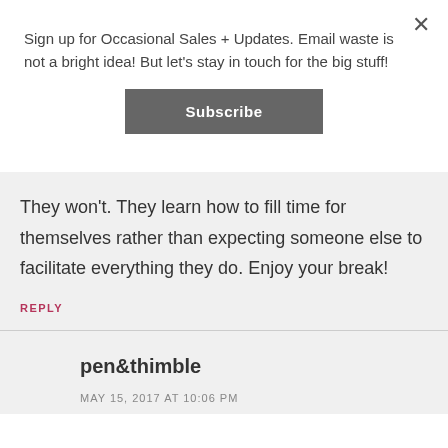Sign up for Occasional Sales + Updates. Email waste is not a bright idea! But let's stay in touch for the big stuff!
Subscribe
They won't. They learn how to fill time for themselves rather than expecting someone else to facilitate everything they do. Enjoy your break!
REPLY
pen&thimble
MAY 15, 2017 AT 10:06 PM